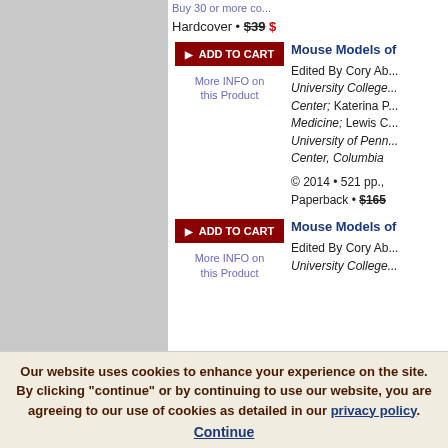Buy 30 or more co...
Hardcover • $39 $...
[Figure (screenshot): ADD TO CART button (dark red) with arrow icon]
More INFO on this Product
Mouse Models of...
Edited By Cory Ab... University College... Center; Katerina P... Medicine; Lewis C... University of Penn... Center, Columbia
© 2014 • 521 pp., Paperback • $165
[Figure (screenshot): ADD TO CART button (dark red) with arrow icon]
More INFO on this Product
Mouse Models of...
Edited By Cory Ab... University College...
Our website uses cookies to enhance your experience on the site. By clicking "continue" or by continuing to use our website, you are agreeing to our use of cookies as detailed in our privacy policy. Continue